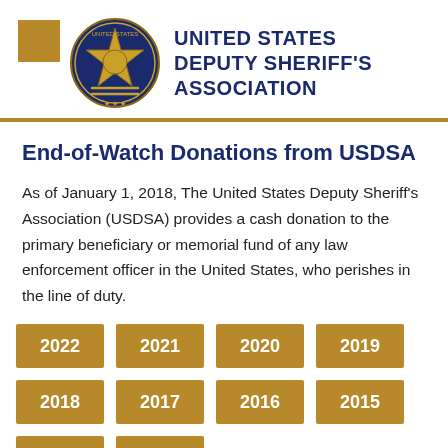UNITED STATES DEPUTY SHERIFF'S ASSOCIATION
End-of-Watch Donations from USDSA
As of January 1, 2018, The United States Deputy Sheriff's Association (USDSA) provides a cash donation to the primary beneficiary or memorial fund of any law enforcement officer in the United States, who perishes in the line of duty.
2022
2021
2020
2019
2018
2017
2016
2015